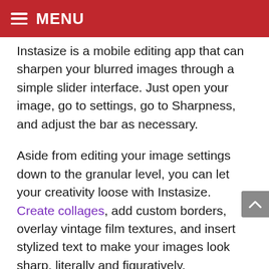MENU
Instasize is a mobile editing app that can sharpen your blurred images through a simple slider interface. Just open your image, go to settings, go to Sharpness, and adjust the bar as necessary.
Aside from editing your image settings down to the granular level, you can let your creativity loose with Instasize. Create collages, add custom borders, overlay vintage film textures, and insert stylized text to make your images look sharp, literally and figuratively.
Pro Tip: Instead of sharpening your photos, you can also use the blurriness of your image to your advantage by playing around with vintage film